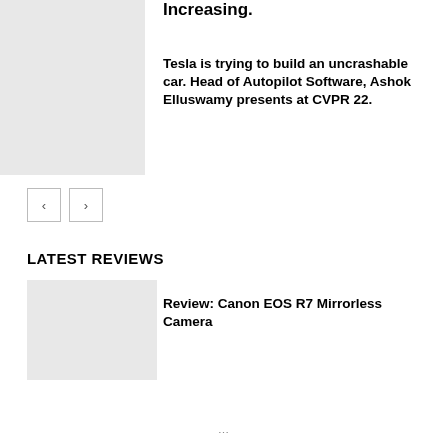Increasing.
Tesla is trying to build an uncrashable car. Head of Autopilot Software, Ashok Elluswamy presents at CVPR 22.
LATEST REVIEWS
Review: Canon EOS R7 Mirrorless Camera